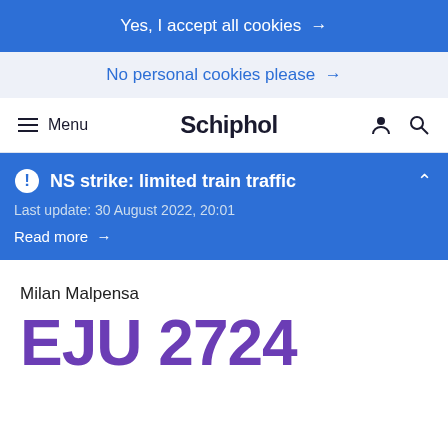Yes, I accept all cookies →
No personal cookies please →
Menu  Schiphol
NS strike: limited train traffic
Last update: 30 August 2022, 20:01
Read more →
Milan Malpensa
EJU 2724